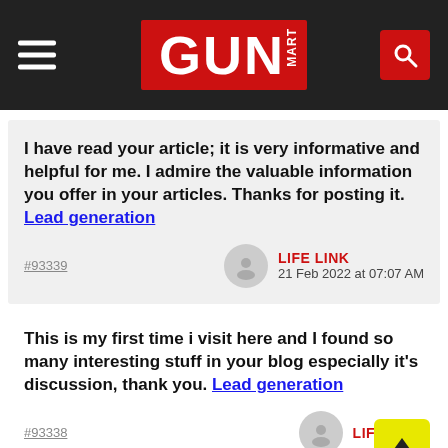[Figure (logo): GUN MART logo on dark header with hamburger menu and search icon]
I have read your article; it is very informative and helpful for me. I admire the valuable information you offer in your articles. Thanks for posting it. Lead generation
#93339
LIFE LINK
21 Feb 2022 at 07:07 AM
This is my first time i visit here and I found so many interesting stuff in your blog especially it's discussion, thank you. Lead generation
#93338
LIFE LINK